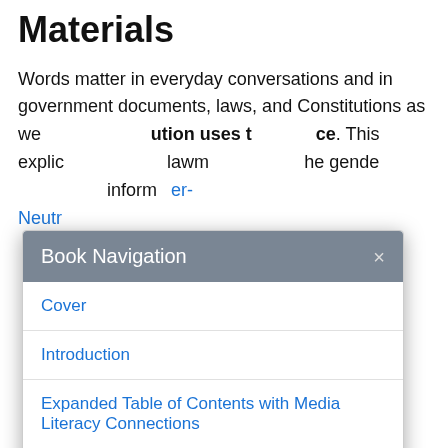Materials
Words matter in everyday conversations and in government documents, laws, and Constitutions as we... ution uses t...ce. This explic... lawm... he gende... inform... er-Neutr...
[Figure (screenshot): Book Navigation modal dialog overlaying page content, showing links: Cover, Introduction, Expanded Table of Contents with Media Literacy Connections, Updates & Latest Additions]
[Figure (illustration): Colorful cartoon figures of diverse people holding hands around a green globe/earth]